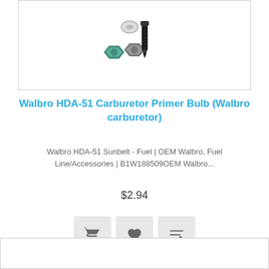[Figure (photo): Product image showing carburetor primer bulb parts including nuts, bolts and fittings on white background]
Walbro HDA-51 Carburetor Primer Bulb (Walbro carburetor)
Walbro HDA-51 Sunbelt - Fuel | OEM Walbro, Fuel Line/Accessories | B1W188509OEM Walbro...
$2.94
[Figure (infographic): Three action buttons: cart icon, heart/wishlist icon, and compare/slider icon]
[Figure (photo): Bottom of next product card, partially visible]